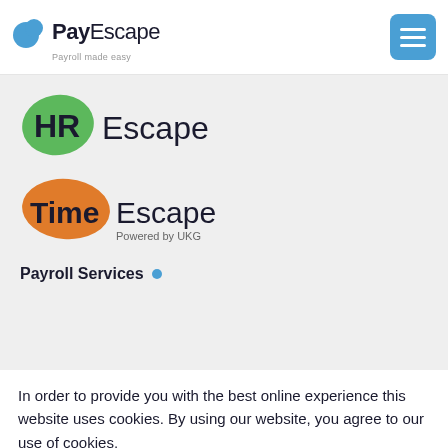PayEscape – Payroll made easy
[Figure (logo): HREscape logo – green blob with HR text and Escape wordmark]
[Figure (logo): TimeEscape logo – orange blob with Time text, Escape wordmark, Powered by UKG tagline]
Payroll Services •
In order to provide you with the best online experience this website uses cookies. By using our website, you agree to our use of cookies.
I understand
Find out more
Compliance